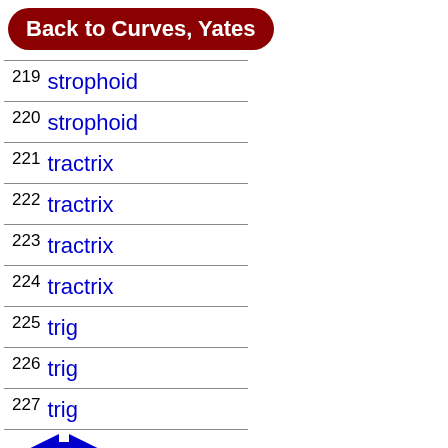Back to Curves, Yates
| 219 | strophoid |
| 220 | strophoid |
| 221 | tractrix |
| 222 | tractrix |
| 223 | tractrix |
| 224 | tractrix |
| 225 | trig |
| 226 | trig |
| 227 | trig |
[Figure (illustration): Blue navigation arrow (diamond/double-arrow shape) pointing left]